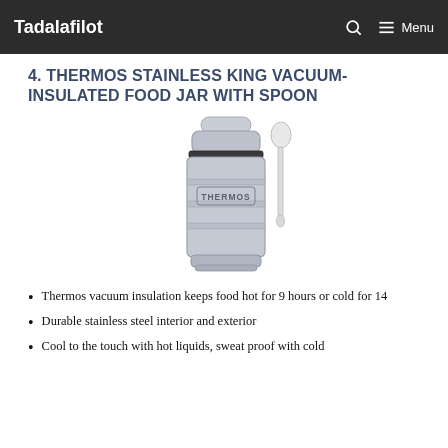Tadalafilot   Menu
4. THERMOS STAINLESS KING VACUUM-INSULATED FOOD JAR WITH SPOON
[Figure (photo): Thermos Stainless King vacuum-insulated food jar, silver/gray matte finish with THERMOS logo on the body, with a white spoon attached to the side and lid on top.]
Thermos vacuum insulation keeps food hot for 9 hours or cold for 14
Durable stainless steel interior and exterior
Cool to the touch with hot liquids, sweat proof with cold